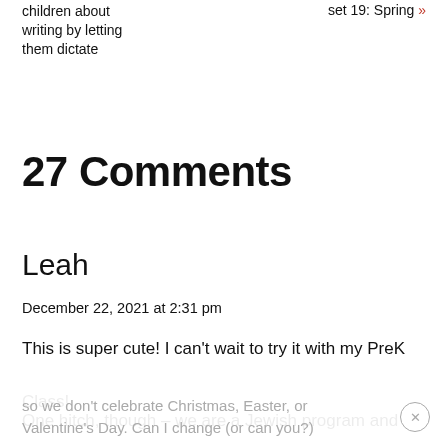children about writing by letting them dictate
set 19: Spring »
27 Comments
Leah
December 22, 2021 at 2:31 pm
This is super cute! I can't wait to try it with my PreK Class!
One hitch, though – we are a Jewish program and
so we don't celebrate Christmas, Easter, or Valentine's Day. Can I change (or can you?)